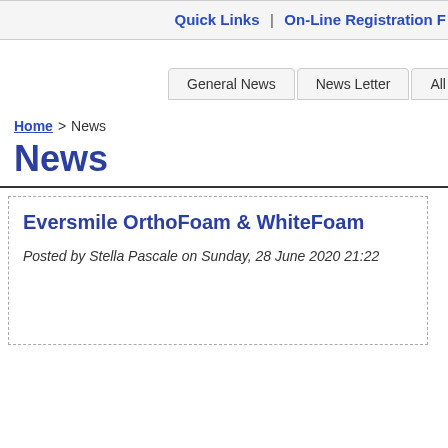Quick Links | On-Line Registration F
General News | News Letter | All New
Home > News
News
Eversmile OrthoFoam & WhiteFoam
Posted by Stella Pascale on Sunday, 28 June 2020 21:22